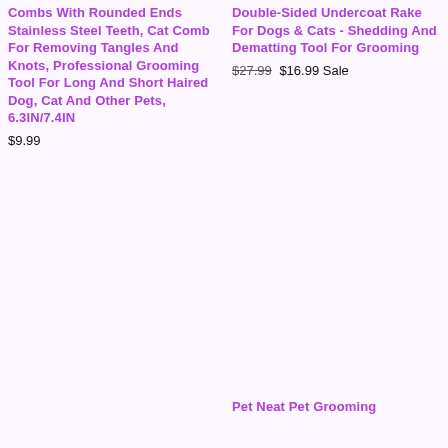Combs with Rounded Ends Stainless Steel Teeth, Cat Comb for Removing Tangles and Knots, Professional Grooming Tool for Long and Short Haired Dog, Cat and other pets, 6.3IN/7.4IN
$9.99
Double-Sided Undercoat Rake for Dogs & Cats - Shedding and Dematting Tool for Grooming
$27.99 $16.99 Sale
Pet Neat Pet Grooming